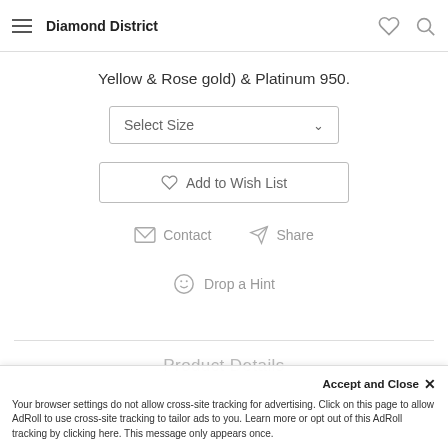Diamond District
Yellow & Rose gold) & Platinum 950.
Select Size
Add to Wish List
Contact   Share
Drop a Hint
Product Details
Your browser settings do not allow cross-site tracking for advertising. Click on this page to allow AdRoll to use cross-site tracking to tailor ads to you. Learn more or opt out of this AdRoll tracking by clicking here. This message only appears once.